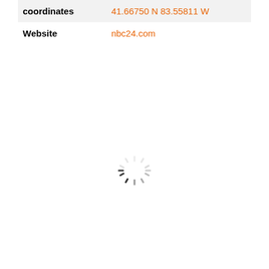| coordinates | 41.66750 N 83.55811 W |
| Website | nbc24.com |
[Figure (other): A loading spinner (circular progress indicator) with radiating tick marks arranged in a circle, partially faded to indicate rotation/loading state.]